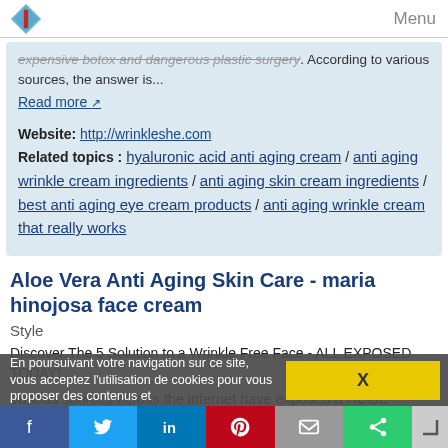Menu
expensive botox and dangerous plastic surgery. According to various sources, the answer is...
Read more
Website: http://wrinkleshe.com
Related topics : hyaluronic acid anti aging cream / anti aging wrinkle cream ingredients / anti aging skin cream ingredients / best anti aging eye cream products / anti aging wrinkle cream that really works
Aloe Vera Anti Aging Skin Care - maria hinojosa face cream
Style
Discover The 5 Solution to a Wrinkle Free Face - ALL EXPOSED TODAY!
Various sources across the internet have exposed a HUGE
En poursuivant votre navigation sur ce site, vous acceptez l'utilisation de cookies pour vous proposer des contenus et
X